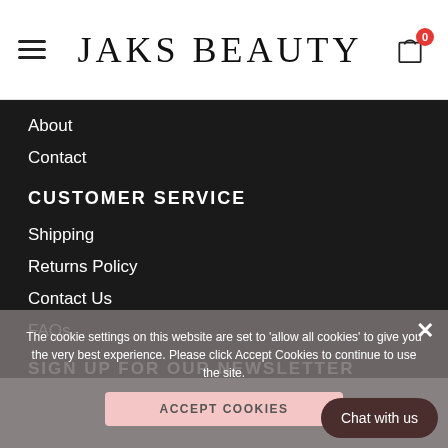JAKS BEAUTY
About
Contact
CUSTOMER SERVICE
Shipping
Returns Policy
Contact Us
FAQs
SIGN UP FOR OUR NEWSLETTER
The cookie settings on this website are set to 'allow all cookies' to give you the very best experience. Please click Accept Cookies to continue to use the site.
ACCEPT COOKIES
Chat with us